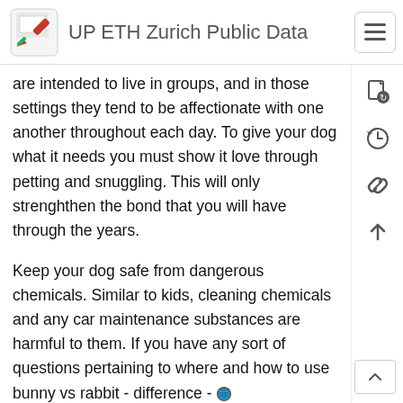UP ETH Zurich Public Data
are intended to live in groups, and in those settings they tend to be affectionate with one another throughout each day. To give your dog what it needs you must show it love through petting and snuggling. This will only strenghthen the bond that you will have through the years.
Keep your dog safe from dangerous chemicals. Similar to kids, cleaning chemicals and any car maintenance substances are harmful to them. If you have any sort of questions pertaining to where and how to use bunny vs rabbit - difference - https://bloodscene9.bloggersdelight.dk -, you can call us at our web-page. These substances are poisonous, so if a dog gets any on them or ingests any, they could get burned, become very sick, or die. Store your hazardous chemicals in a place that your dog can't get to, or keep them in a closed area using a child-proof lock.
Whether your dog is fabulous or frustrating, remember that it is how you treat them which gives you the outcome you receive. You have to teach them right from wrong, give them entertainment and keep them healthy. It is no simple